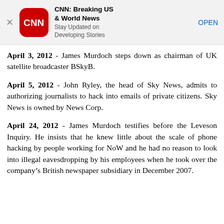[Figure (other): CNN app advertisement banner with CNN logo (white CNN text on red rounded square icon), app name 'CNN: Breaking US & World News', subtitle 'Stay Updated on Developing Stories', and an OPEN button link. A close (X) button is on the left.]
April 3, 2012 - James Murdoch steps down as chairman of UK satellite broadcaster BSkyB.
April 5, 2012 - John Ryley, the head of Sky News, admits to authorizing journalists to hack into emails of private citizens. Sky News is owned by News Corp.
April 24, 2012 - James Murdoch testifies before the Leveson Inquiry. He insists that he knew little about the scale of phone hacking by people working for NoW and he had no reason to look into illegal eavesdropping by his employees when he took over the company's British newspaper subsidiary in December 2007.